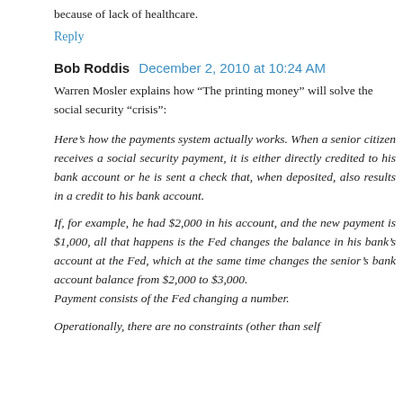because of lack of healthcare.
Reply
Bob Roddis  December 2, 2010 at 10:24 AM
Warren Mosler explains how “The printing money” will solve the social security “crisis”:
Here’s how the payments system actually works. When a senior citizen receives a social security payment, it is either directly credited to his bank account or he is sent a check that, when deposited, also results in a credit to his bank account.
If, for example, he had $2,000 in his account, and the new payment is $1,000, all that happens is the Fed changes the balance in his bank’s account at the Fed, which at the same time changes the senior’s bank account balance from $2,000 to $3,000.
Payment consists of the Fed changing a number.
Operationally, there are no constraints (other than self